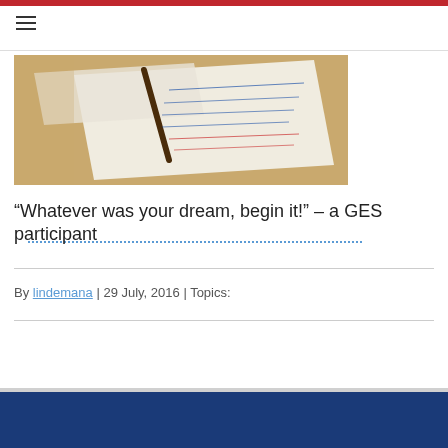[Figure (photo): Close-up photo of a brown desk with papers containing handwritten notes and a dark pen, taken from a low angle]
“Whatever was your dream, begin it!” – a GES participant
By lindemana | 29 July, 2016 | Topics: